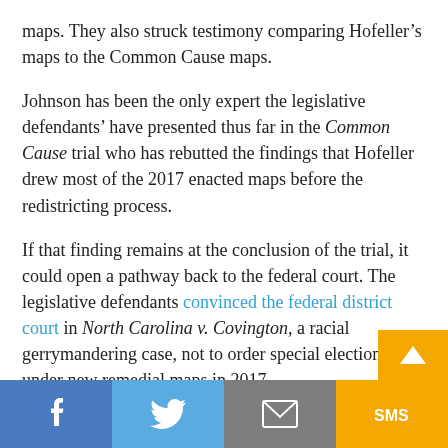maps. They also struck testimony comparing Hofeller's maps to the Common Cause maps.
Johnson has been the only expert the legislative defendants' have presented thus far in the Common Cause trial who has rebutted the findings that Hofeller drew most of the 2017 enacted maps before the redistricting process.
If that finding remains at the conclusion of the trial, it could open a pathway back to the federal court. The legislative defendants convinced the federal district court in North Carolina v. Covington, a racial gerrymandering case, not to order special elections under new remedial maps in 2017.
Facebook | Twitter | Email | SMS